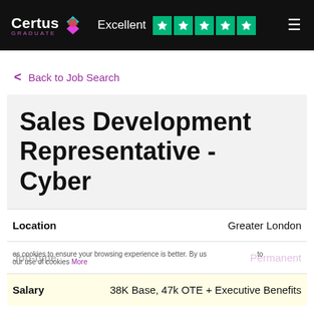Certus Graduate — Excellent ★★★★★
< Back to Job Search
Sales Development Representative - Cyber
Location: Greater London
Job-type: Permanent
Salary: 38K Base, 47k OTE + Executive Benefits